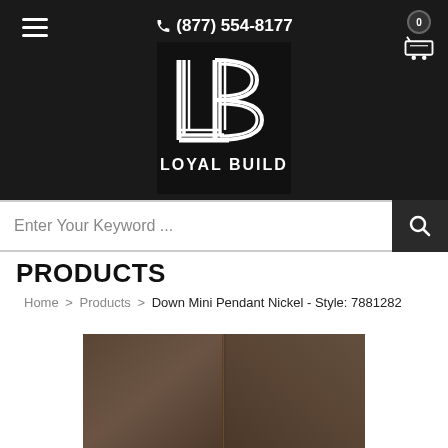(877) 554-8177
[Figure (logo): Loyal Build logo — black square with stylized LB letterform in white lines, 'LOYAL BUILD' text below]
Enter Your Keyword ...
PRODUCTS
Home > Products > Down Mini Pendant Nickel - Style: 7881282
[Figure (photo): Product photo showing a dark brown textured surface, split in the center — partial view of Down Mini Pendant Nickel product]